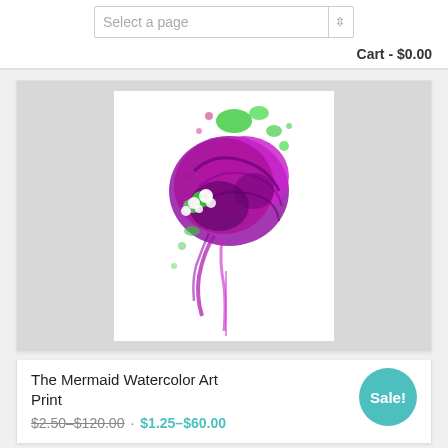Select a page
Cart - $0.00
[Figure (illustration): Watercolor art print of a woman with purple/magenta upswept hair adorned with white flowers and green leaves, with green paint splashes on a white background]
The Mermaid Watercolor Art Print
$2.50–$120.00 • $1.25–$60.00